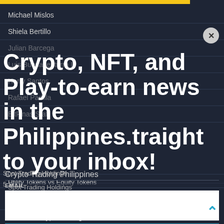Michael Mislos
Shiela Bertillo
Julian Barcega
Luis Buenaventurra II
Harry Santos
Rafael Padilla
BitFinas Staff
Crypto, NFT, and Play-to-earn news in the Philippines.traight to your inbox!
Crypto Trading Philippines
EMAIL
Spot Trading Holdings
5 Si...
Utility Tokens vs Equity Tokens
Wha...
How to Build Your Crypto Portfolio
What are Crypto Savings Accounts?